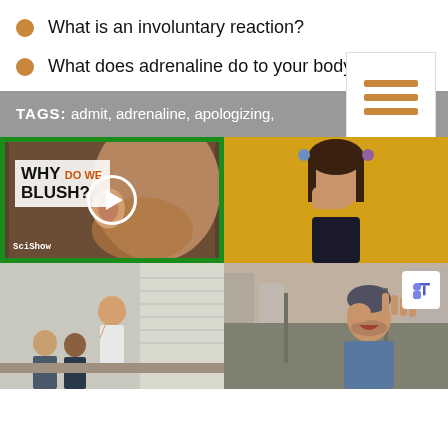What is an involuntary reaction?
What does adrenaline do to your body?
TAGS: admit, adrenaline, apologizing,   See All Tags
[Figure (photo): Video thumbnail for 'Why Do We Blush?' with play button, green border]
[Figure (photo): Young girl covering face with hands against yellow wall]
[Figure (photo): Woman presenting/speaking to colleagues in office setting]
[Figure (photo): Man laughing and covering eye on street, with Microsoft Teams icon overlay]